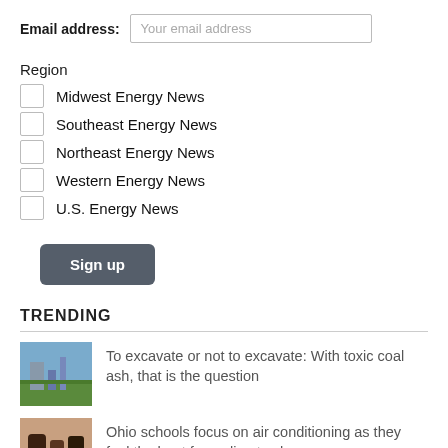Email address: Your email address
Region
Midwest Energy News
Southeast Energy News
Northeast Energy News
Western Energy News
U.S. Energy News
Sign up
TRENDING
[Figure (photo): Landscape photo with water and industrial structures]
To excavate or not to excavate: With toxic coal ash, that is the question
[Figure (photo): Photo of dark objects, possibly related to Ohio schools or climate]
Ohio schools focus on air conditioning as they feel the heat from climate change